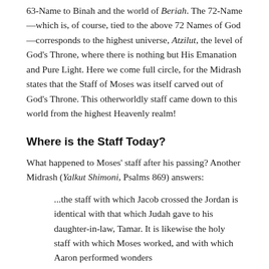63-Name to Binah and the world of Beriah. The 72-Name—which is, of course, tied to the above 72 Names of God—corresponds to the highest universe, Atzilut, the level of God's Throne, where there is nothing but His Emanation and Pure Light. Here we come full circle, for the Midrash states that the Staff of Moses was itself carved out of God's Throne. This otherworldly staff came down to this world from the highest Heavenly realm!
Where is the Staff Today?
What happened to Moses' staff after his passing? Another Midrash (Yalkut Shimoni, Psalms 869) answers:
...the staff with which Jacob crossed the Jordan is identical with that which Judah gave to his daughter-in-law, Tamar. It is likewise the holy staff with which Moses worked, and with which Aaron performed wonders